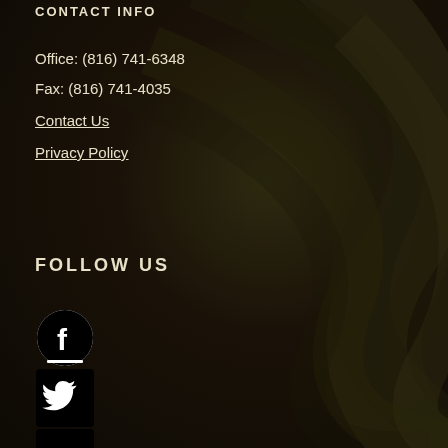CONTACT INFO
Office: (816) 741-6348
Fax: (816) 741-4035
Contact Us
Privacy Policy
FOLLOW US
[Figure (logo): Facebook social media icon - white F logo on black circle]
[Figure (logo): Twitter social media icon - white bird logo on black square]
[Figure (logo): Google social media icon - white G logo on black square]